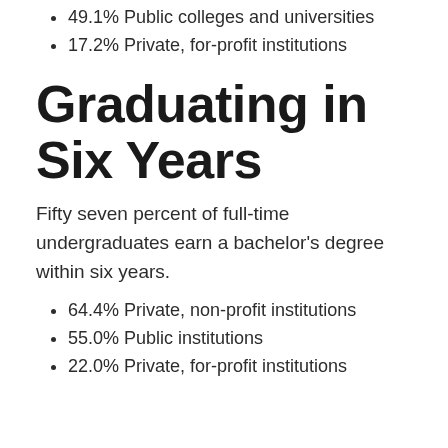49.1% Public colleges and universities
17.2% Private, for-profit institutions
Graduating in Six Years
Fifty seven percent of full-time undergraduates earn a bachelor's degree within six years.
64.4% Private, non-profit institutions
55.0% Public institutions
22.0% Private, for-profit institutions